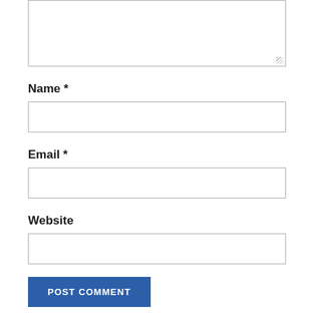[Figure (screenshot): A text area input box (empty, with resize handle at bottom right)]
Name *
[Figure (screenshot): A single-line text input box for Name (empty)]
Email *
[Figure (screenshot): A single-line text input box for Email (empty)]
Website
[Figure (screenshot): A single-line text input box for Website (empty)]
POST COMMENT